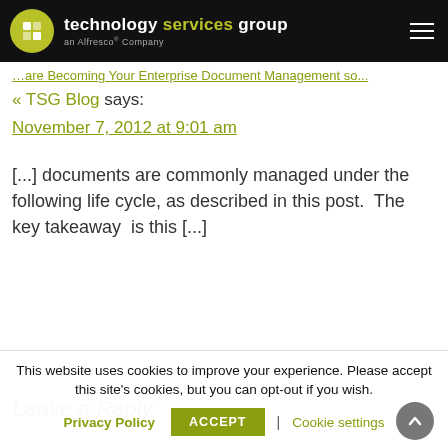technology services group — an Alfresco® Company
[link text truncated] (partial link visible at top)
« TSG Blog says:
November 7, 2012 at 9:01 am
[...] documents are commonly managed under the following life cycle, as described in this post.  The key takeaway  is this [...]
Leave a Reply (partial)
This website uses cookies to improve your experience. Please accept this site's cookies, but you can opt-out if you wish.
Privacy Policy | ACCEPT | Cookie settings